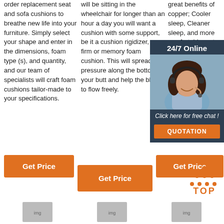order replacement seat and sofa cushions to breathe new life into your furniture. Simply select your shape and enter in the dimensions, foam type (s), and quantity, and our team of specialists will craft foam cushions tailor-made to your specifications.
will be sitting in the wheelchair for longer than an hour a day you will want a cushion with some support, be it a cushion rigidizer, or a firm or memory foam cushion. This will spread the pressure along the bottom of your butt and help the blood to flow freely.
great benefits of copper; Cooler sleep, Cleaner sleep, and more comfortable rest. The to added mattre a little Layla C can dia of your Mattre adding to …
[Figure (photo): 24/7 online chat widget with female customer service agent wearing headset, with 'Click here for free chat!' text and QUOTATION button]
Get Price
Get Price
Get Price
[Figure (illustration): TOP navigation button with orange dots and bold orange TOP text]
[Figure (photo): Bottom strip with small product thumbnail images]